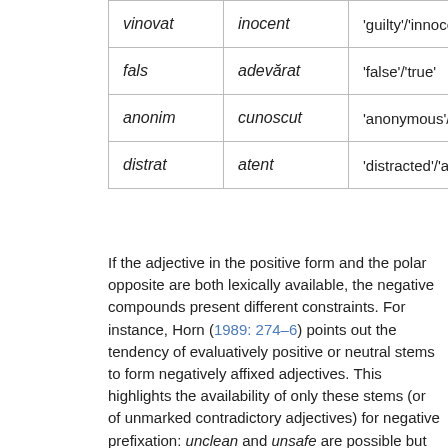| vinovat | inocent | 'guilty'/'innocent' |
| fals | adevărat | 'false'/'true' |
| anonim | cunoscut | 'anonymous'/'known' |
| distrat | atent | 'distracted'/'attentive' |
If the adjective in the positive form and the polar opposite are both lexically available, the negative compounds present different constraints. For instance, Horn (1989: 274–6) points out the tendency of evaluatively positive or neutral stems to form negatively affixed adjectives. This highlights the availability of only these stems (or of unmarked contradictory adjectives) for negative prefixation: unclean and unsafe are possible but undirty and undangerous are not. De Clercq and Vanden Wyngaerd (2019) discuss a syntactic constraint, according to which two immediately consecutive